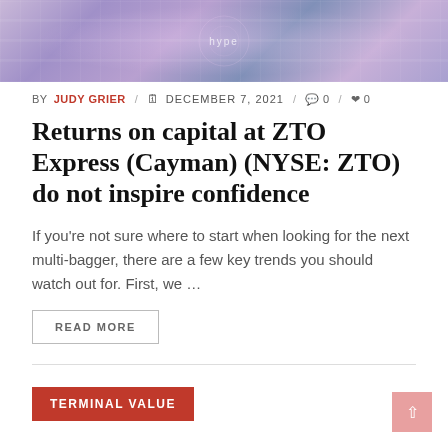[Figure (photo): Abstract technology/digital background image with purple and blue hues, circuit-like patterns]
BY JUDY GRIER / DECEMBER 7, 2021 / 0 / 0
Returns on capital at ZTO Express (Cayman) (NYSE: ZTO) do not inspire confidence
If you're not sure where to start when looking for the next multi-bagger, there are a few key trends you should watch out for. First, we ...
READ MORE
TERMINAL VALUE